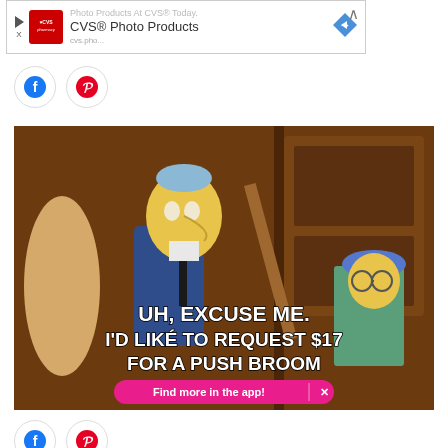[Figure (screenshot): CVS Pharmacy advertisement banner with logo, 'CVS® Photo Products' text, blue navigation arrow icon, and a close chevron button]
[Figure (illustration): Two circular social share buttons: Facebook (blue) and Pinterest (red)]
[Figure (screenshot): Simpsons meme image showing Mr. Burns and a child character. Text overlay reads: 'UH, EXCUSE ME. I'D LIKE TO REQUEST $17 FOR A PUSH BROOM'. A pink 'Find more in the app!' button with an X is overlaid at the bottom.]
[Figure (illustration): Two circular social share buttons at bottom: Facebook (blue) and Pinterest (red)]